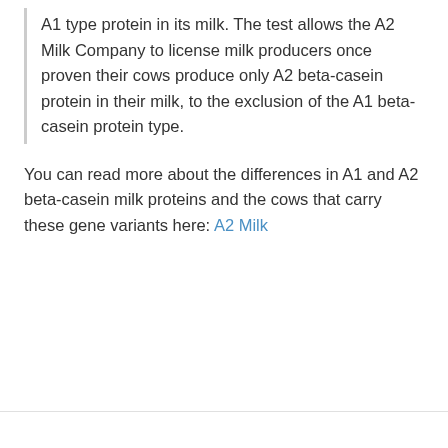A1 type protein in its milk. The test allows the A2 Milk Company to license milk producers once proven their cows produce only A2 beta-casein protein in their milk, to the exclusion of the A1 beta-casein protein type.
You can read more about the differences in A1 and A2 beta-casein milk proteins and the cows that carry these gene variants here: A2 Milk